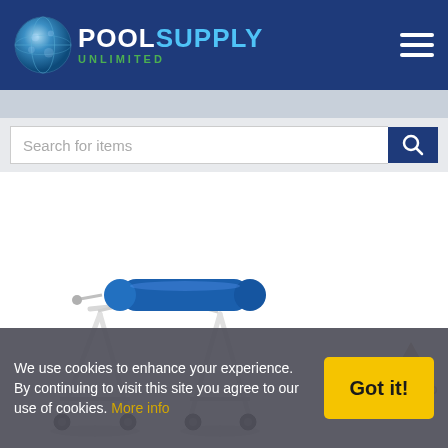[Figure (logo): Pool Supply Unlimited logo with globe icon, white and blue POOL text, blue SUPPLY text, green UNLIMITED subtitle]
[Figure (screenshot): Search bar with text 'Search for items' and blue search button with magnifying glass icon]
[Figure (photo): Pool solar cover reel/roller product on white stand with wheels]
We use cookies to enhance your experience. By continuing to visit this site you agree to our use of cookies. More info
Got it!
BACK TO TOP